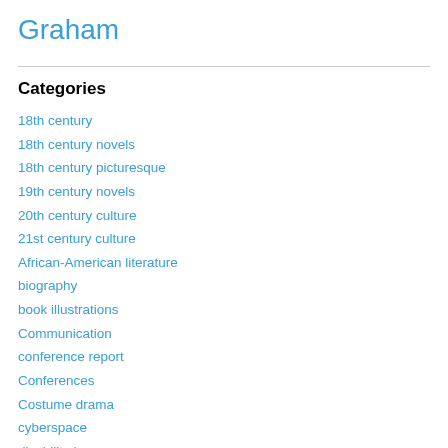Graham
Categories
18th century
18th century novels
18th century picturesque
19th century novels
20th century culture
21st century culture
African-American literature
biography
book illustrations
Communication
conference report
Conferences
Costume drama
cyberspace
disability issues